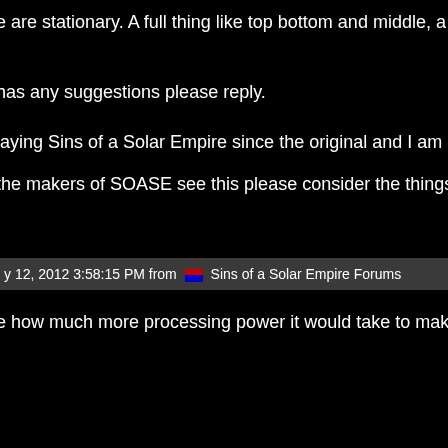e are stationary. A full thing like top bottom and middle, a big sph
has any suggestions please reply.
laying Sins of a Solar Empire since the original and I am a true f
the makers of SOASE see this please consider the things I have
y 12, 2012 3:58:15 PM from  Sins of a Solar Empire Forums
e how much more processing power it would take to make rotati